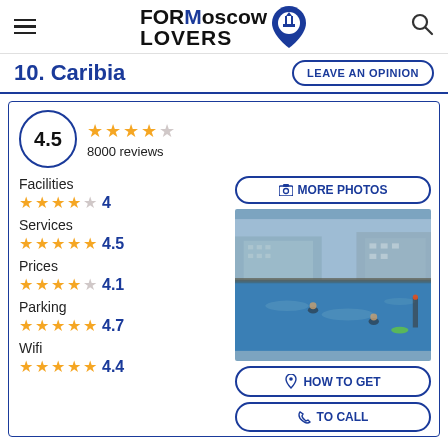FORMoscow LOVERS
10. Caribia
LEAVE AN OPINION
4.5 — 8000 reviews
Facilities ★★★★☆ 4
Services ★★★★½ 4.5
Prices ★★★★☆ 4.1
Parking ★★★★½ 4.7
Wifi ★★★★½ 4.4
MORE PHOTOS
[Figure (photo): Outdoor swimming pool with blue water in winter/cold weather, buildings in background, people swimming]
HOW TO GET
TO CALL